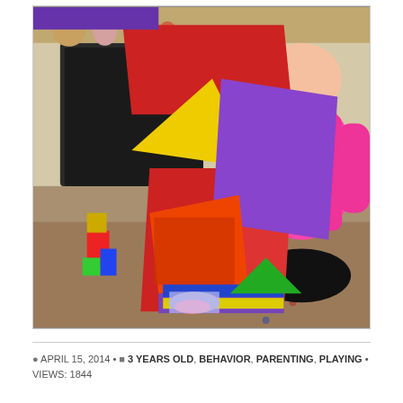[Figure (photo): A young girl in a pink Hello Kitty jacket kneeling on a patterned rug next to a tall structure built from colorful foam shapes and blocks (red, yellow, purple, orange, blue, green). The background shows a room with a dark wooden chest and stuffed animals on a shelf.]
APRIL 15, 2014 • 3 YEARS OLD, BEHAVIOR, PARENTING, PLAYING • VIEWS: 1844